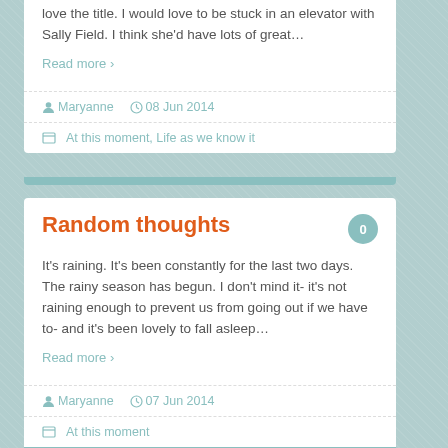love the title. I would love to be stuck in an elevator with Sally Field. I think she'd have lots of great…
Read more ›
Maryanne   08 Jun 2014
At this moment, Life as we know it
Random thoughts
It's raining. It's been constantly for the last two days. The rainy season has begun. I don't mind it- it's not raining enough to prevent us from going out if we have to- and it's been lovely to fall asleep…
Read more ›
Maryanne   07 Jun 2014
At this moment